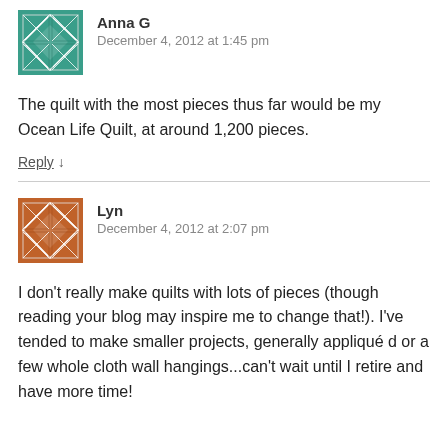[Figure (illustration): Teal/green quilt pattern avatar icon for Anna G]
Anna G
December 4, 2012 at 1:45 pm
The quilt with the most pieces thus far would be my Ocean Life Quilt, at around 1,200 pieces.
Reply ↓
[Figure (illustration): Rust/orange quilt pattern avatar icon for Lyn]
Lyn
December 4, 2012 at 2:07 pm
I don't really make quilts with lots of pieces (though reading your blog may inspire me to change that!). I've tended to make smaller projects, generally appliquéd or a few whole cloth wall hangings...can't wait until I retire and have more time!